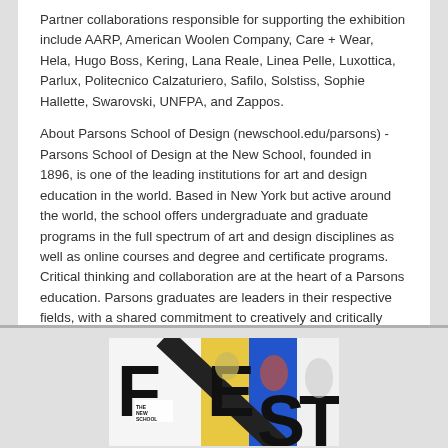Partner collaborations responsible for supporting the exhibition include AARP, American Woolen Company, Care + Wear, Hela, Hugo Boss, Kering, Lana Reale, Linea Pelle, Luxottica, Parlux, Politecnico Calzaturiero, Safilo, Solstiss, Sophie Hallette, Swarovski, UNFPA, and Zappos.
About Parsons School of Design (newschool.edu/parsons) - Parsons School of Design at the New School, founded in 1896, is one of the leading institutions for art and design education in the world. Based in New York but active around the world, the school offers undergraduate and graduate programs in the full spectrum of art and design disciplines as well as online courses and degree and certificate programs. Critical thinking and collaboration are at the heart of a Parsons education. Parsons graduates are leaders in their respective fields, with a shared commitment to creatively and critically addressing the complexities of life in the 21st century.
[Figure (illustration): FEST promotional image with large bold letters F, E, S, T overlaid on photos of people in colorful fashion, with The New School logo]